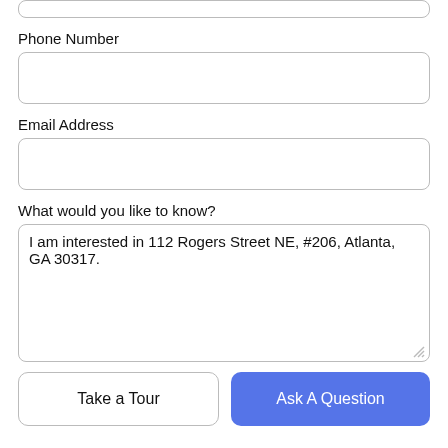[Figure (screenshot): Partial top input box (cropped at top of page)]
Phone Number
[Figure (screenshot): Phone Number input field (empty)]
Email Address
[Figure (screenshot): Email Address input field (empty)]
What would you like to know?
[Figure (screenshot): Textarea with text: I am interested in 112 Rogers Street NE, #206, Atlanta, GA 30317.]
Take a Tour
Ask A Question